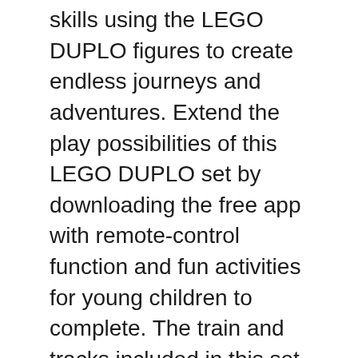skills using the LEGO DUPLO figures to create endless journeys and adventures. Extend the play possibilities of this LEGO DUPLO set by downloading the free app with remote-control function and fun activities for young children to complete. The train and tracks included in this set are compatible with your childs existing LEGO DUPLO train collection. Download the optional app at the App Store, Google Play Store or Amazon Kindle Store. Learn more at LEGO.com/devicecheck. LEGO DUPLO products are specially designed to be fun and easy for little hands. This product requires batteries (not included). Please refer to the product packaging for type and quantity.